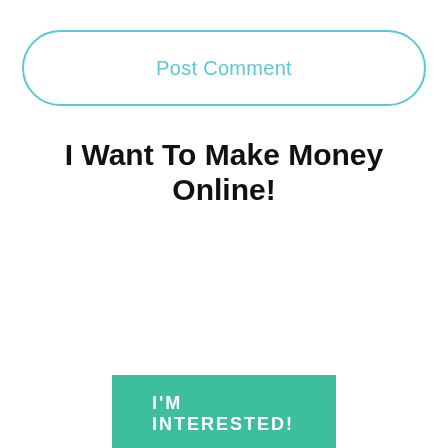Post Comment
I Want To Make Money Online!
I'M INTERESTED!
[Figure (logo): eMoneyKings logo with crown icon and orange text]
[Figure (other): Hamburger menu icon (three horizontal lines in a circle)]